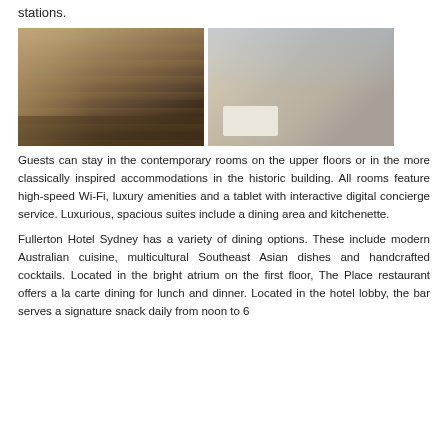stations.
[Figure (photo): Two hotel photos side by side: left shows a modern hotel lobby with wooden ceiling panels, seating areas, and dark stone features; right shows a contemporary hotel room with a large bed, floor-to-ceiling windows overlooking a city skyline, and warm neutral tones.]
Guests can stay in the contemporary rooms on the upper floors or in the more classically inspired accommodations in the historic building. All rooms feature high-speed Wi-Fi, luxury amenities and a tablet with interactive digital concierge service. Luxurious, spacious suites include a dining area and kitchenette.
Fullerton Hotel Sydney has a variety of dining options. These include modern Australian cuisine, multicultural Southeast Asian dishes and handcrafted cocktails. Located in the bright atrium on the first floor, The Place restaurant offers a la carte dining for lunch and dinner. Located in the hotel lobby, the bar serves a signature snack daily from noon to 6